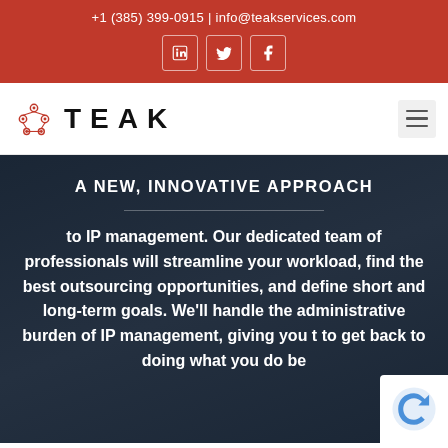+1 (385) 399-0915 | info@teakservices.com
[Figure (logo): TEAK Services logo with network/node icon in red and black]
A NEW, INNOVATIVE APPROACH
to IP management. Our dedicated team of professionals will streamline your workload, find the best outsourcing opportunities, and define short and long-term goals. We'll handle the administrative burden of IP management, giving you t to get back to doing what you do be